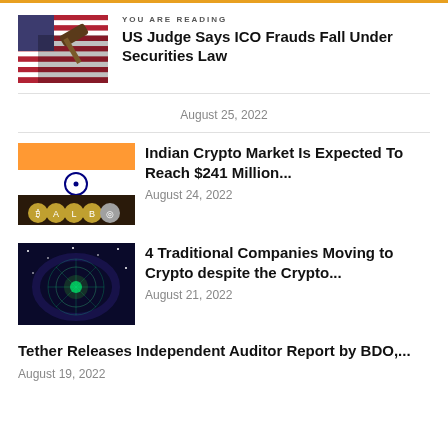YOU ARE READING
US Judge Says ICO Frauds Fall Under Securities Law
August 25, 2022
Indian Crypto Market Is Expected To Reach $241 Million...
August 24, 2022
4 Traditional Companies Moving to Crypto despite the Crypto...
August 21, 2022
Tether Releases Independent Auditor Report by BDO,...
August 19, 2022